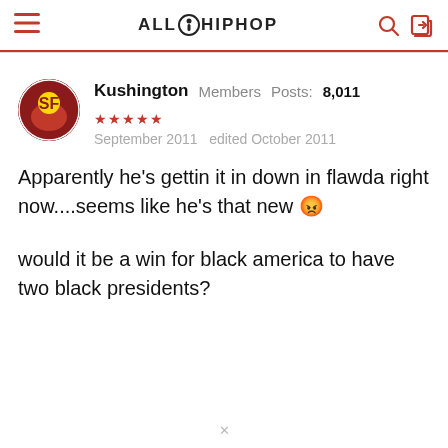ALL HIP HOP
Kushington   Members   Posts: 8,011   ★★★★★
September 2011   edited October 2011
Apparently he's gettin it in down in flawda right now....seems like he's that new

would it be a win for black america to have two black presidents?